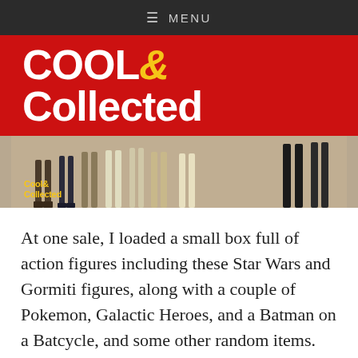≡ MENU
COOL& Collected
[Figure (photo): Photo of action figures laid out on carpet, showing legs and feet of various figures including Star Wars and Gormiti figures. A 'Cool & Collected' watermark logo appears in the lower left of the image.]
At one sale, I loaded a small box full of action figures including these Star Wars and Gormiti figures, along with a couple of Pokemon, Galactic Heroes, and a Batman on a Batcycle, and some other random items. You gotta love Star Wars figures that still have their guns rubber banded to their hands. I don't think these guys saw much